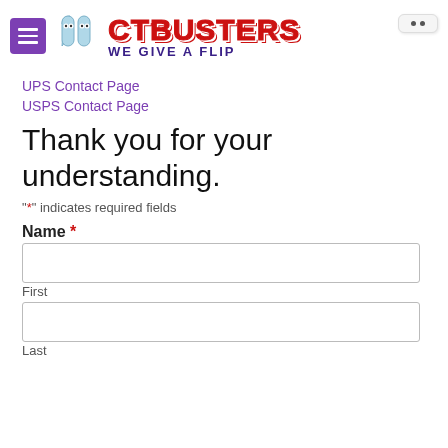[Figure (logo): CTBusters logo with ghost icon, red bold CTBUSTERS text, and purple tagline WE GIVE A FLIP]
UPS Contact Page
USPS Contact Page
Thank you for your understanding.
"*" indicates required fields
Name *
First
Last